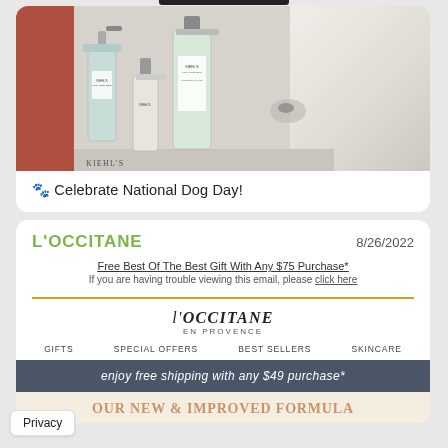[Figure (photo): Photo of Kiehl's dog grooming products (spray bottle, pump bottle, large shampoo bottle) with a fluffy white dog against a white brick wall background]
🐾 Celebrate National Dog Day!
L'OCCITANE
8/26/2022
Free Best Of The Best Gift With Any $75 Purchase*
If you are having trouble viewing this email, please click here
[Figure (logo): L'OCCITANE EN PROVENCE logo]
GIFTS   SPECIAL OFFERS   BEST SELLERS   SKINCARE
enjoy free shipping with any $49 purchase*
OUR NEW & IMPROVED FORMULA
Privacy